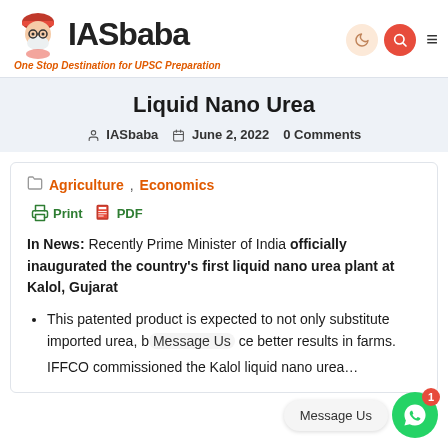IASbaba — One Stop Destination for UPSC Preparation
Liquid Nano Urea
IASbaba  June 2, 2022  0 Comments
Agriculture, Economics
Print  PDF
In News: Recently Prime Minister of India officially inaugurated the country's first liquid nano urea plant at Kalol, Gujarat
This patented product is expected to not only substitute imported urea, but also achieve better results in farms.
IFFCO commissioned the Kalol liquid nano urea...